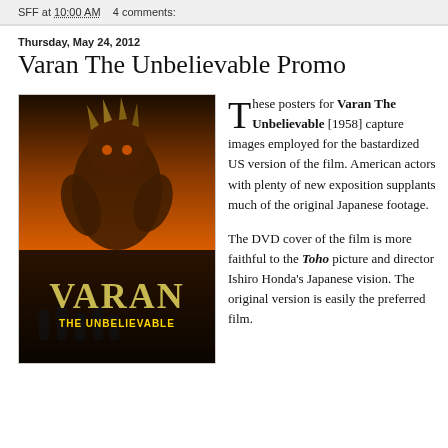SFF at 10:00 AM    4 comments:
Thursday, May 24, 2012
Varan The Unbelievable Promo
[Figure (photo): Movie poster for Varan The Unbelievable (1958), showing a large monster creature against an orange sky with the title text VARAN THE UNBELIEVABLE]
These posters for Varan The Unbelievable [1958] capture images employed for the bastardized US version of the film. American actors with plenty of new exposition supplants much of the original Japanese footage.

The DVD cover of the film is more faithful to the Toho picture and director Ishiro Honda's Japanese vision. The original version is easily the preferred film.